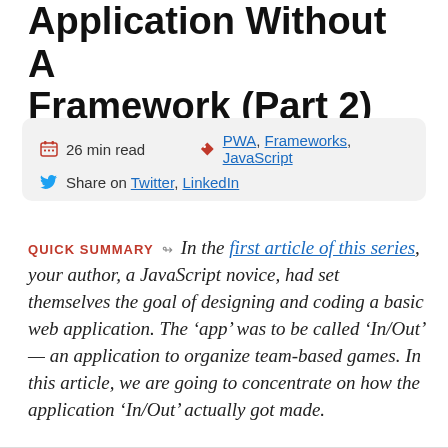Application Without A Framework (Part 2)
26 min read   PWA, Frameworks, JavaScript   Share on Twitter, LinkedIn
QUICK SUMMARY ↬ In the first article of this series, your author, a JavaScript novice, had set themselves the goal of designing and coding a basic web application. The 'app' was to be called 'In/Out' — an application to organize team-based games. In this article, we are going to concentrate on how the application 'In/Out' actually got made.